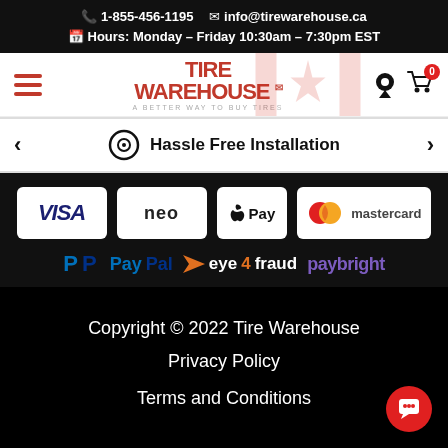1-855-456-1195  info@tirewarehouse.ca  Hours: Monday – Friday 10:30am – 7:30pm EST
[Figure (logo): Tire Warehouse logo with hamburger menu and cart icons on white background with Canadian flag]
Hassle Free Installation
[Figure (infographic): Payment method logos: VISA, neo, Apple Pay, Mastercard, PayPal, eye4fraud, paybright on black background]
Copyright © 2022 Tire Warehouse
Privacy Policy
Terms and Conditions